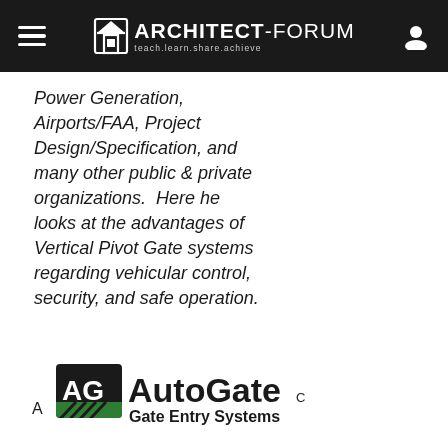ARCHITECT-FORUM teach.learn.share.achieve
Power Generation, Airports/FAA, Project Design/Specification, and many other public & private organizations.  Here he looks at the advantages of Vertical Pivot Gate systems regarding vehicular control, security, and safe operation.
[Figure (logo): AutoGate Gate Entry Systems logo with AG monogram and green gate graphic]